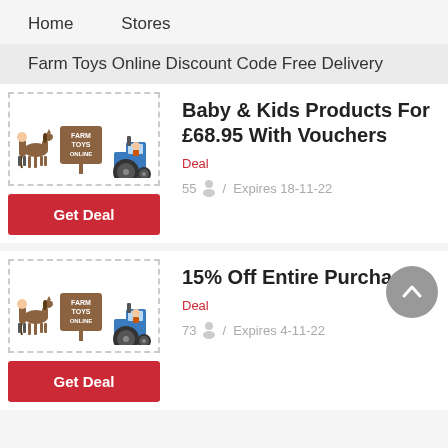Home   Stores
Farm Toys Online Discount Code Free Delivery
[Figure (logo): Farm Toys Online logo with horse, sign and tractor]
Baby & Kids Products For £68.95 With Vouchers
Deal
55  /  Expires 18-11-22
[Figure (logo): Farm Toys Online logo with horse, sign and tractor]
15% Off Entire Purchase
Deal
73  /  Expires 4-11-22